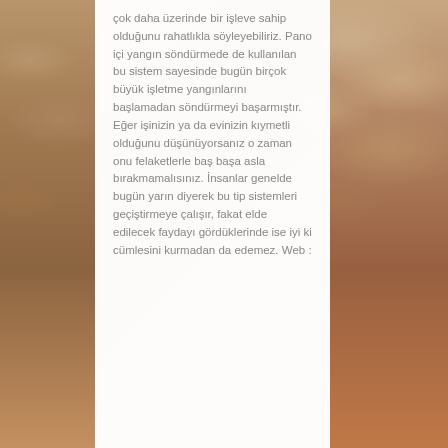çok daha üzerinde bir işleve sahip olduğunu rahatlıkla söyleyebiliriz. Pano içi yangın söndürmede de kullanılan bu sistem sayesinde bugün birçok büyük işletme yangınlarını başlamadan söndürmeyi başarmıştır. Eğer işinizin ya da evinizin kıymetli olduğunu düşünüyorsanız o zaman onu felaketlerle baş başa asla bırakmamalısınız. İnsanlar genelde bugün yarın diyerek bu tip sistemleri geçiştirmeye çalışır, fakat elde edilecek faydayı gördüklerinde ise iyi ki cümlesini kurmadan da edemez. Web :
[Figure (photo): Sepia-toned cloudy sky background with warm orange-brown tones, visible on left and right sides of the page behind a white text panel.]